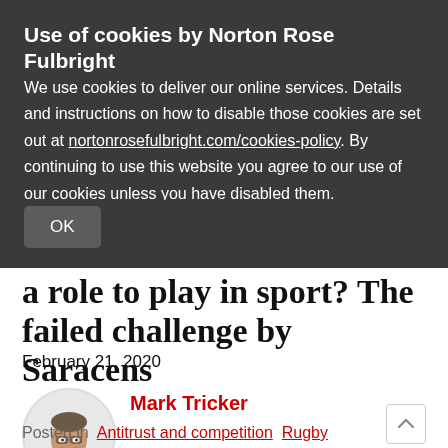Use of cookies by Norton Rose Fulbright
We use cookies to deliver our online services. Details and instructions on how to disable those cookies are set out at nortonrosefulbright.com/cookies-policy. By continuing to use this website you agree to our use of our cookies unless you have disabled them.
OK
a role to play in sport? The failed challenge by Saracens
February 21, 2020
[Figure (photo): Circular headshot photo of Mark Tricker, a middle-aged man with glasses wearing a dark jacket and red tie, smiling]
Mark Tricker
Posted in  Antitrust and competition  Rugby